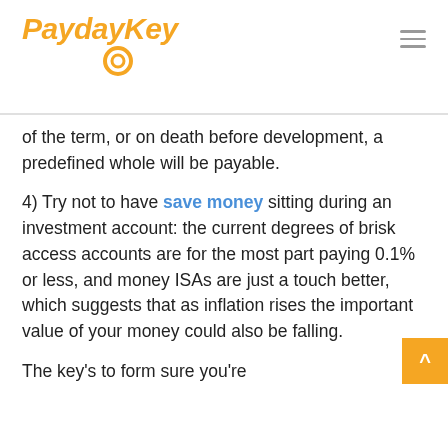PaydayKey
of the term, or on death before development, a predefined whole will be payable.
4) Try not to have save money sitting during an investment account: the current degrees of brisk access accounts are for the most part paying 0.1% or less, and money ISAs are just a touch better, which suggests that as inflation rises the important value of your money could also be falling.
The key's to form sure you're